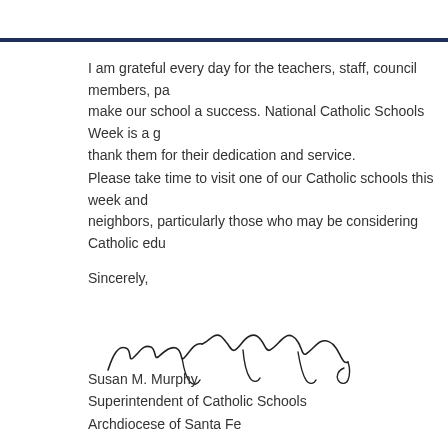I am grateful every day for the teachers, staff, council members, pa... make our school a success. National Catholic Schools Week is a g... thank them for their dedication and service.
Please take time to visit one of our Catholic schools this week and... neighbors, particularly those who may be considering Catholic edu...
Sincerely,
[Figure (illustration): Handwritten signature of Susan M. Murphy]
Susan M. Murphy
Superintendent of Catholic Schools
Archdiocese of Santa Fe